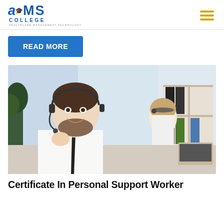AIMS College - Healthcare Management Technology
READ MORE
[Figure (photo): Two call center/support workers wearing headsets at an office desk. A man in a white shirt and black tie is smiling and touching his headset in the foreground; a woman with long hair is working at a laptop in the background. Office shelving with binders visible in background.]
Certificate In Personal Support Worker